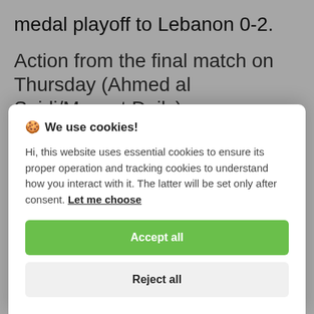medal playoff to Lebanon 0-2.
Action from the final match on Thursday (Ahmed al Saidi/Muscat Daily)
Both Qatar and Oman fielded two teams
🍪 We use cookies!

Hi, this website uses essential cookies to ensure its proper operation and tracking cookies to understand how you interact with it. The latter will be set only after consent. Let me choose

[Accept all]
[Reject all]